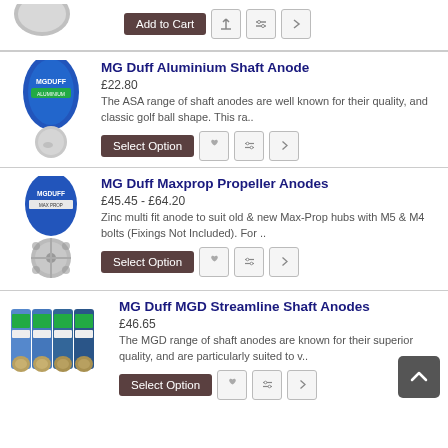[Figure (photo): Partial product image at top, silver dome-shaped anode]
Add to Cart
[Figure (photo): MG Duff product packaging with blue oval label showing MGDUFF, with golf ball shaped shaft anode below]
MG Duff Aluminium Shaft Anode
£22.80
The ASA range of shaft anodes are well known for their quality, and classic golf ball shape. This ra..
Select Option
[Figure (photo): MG Duff MGDUFF blue oval labelled packaging with propeller anode below]
MG Duff Maxprop Propeller Anodes
£45.45 - £64.20
Zinc multi fit anode to suit old & new Max-Prop hubs with M5 & M4 bolts (Fixings Not Included). For ..
Select Option
[Figure (photo): Row of four MG Duff MGD streamline shaft anodes in packaging]
MG Duff MGD Streamline Shaft Anodes
£46.65
The MGD range of shaft anodes are known for their superior quality, and are particularly suited to v..
Select Option